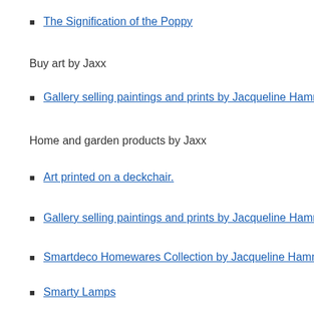The Signification of the Poppy
Buy art by Jaxx
Gallery selling paintings and prints by Jacqueline Hammo...
Home and garden products by Jaxx
Art printed on a deckchair.
Gallery selling paintings and prints by Jacqueline Hammo...
Smartdeco Homewares Collection by Jacqueline Hamm...
Smarty Lamps
Homewares